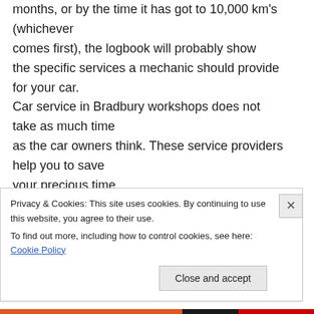months, or by the time it has got to 10,000 km's (whichever comes first), the logbook will probably show the specific services a mechanic should provide for your car. Car service in Bradbury workshops does not take as much time as the car owners think. These service providers help you to save your precious time.
↩ Reply
Privacy & Cookies: This site uses cookies. By continuing to use this website, you agree to their use.
To find out more, including how to control cookies, see here: Cookie Policy
Close and accept